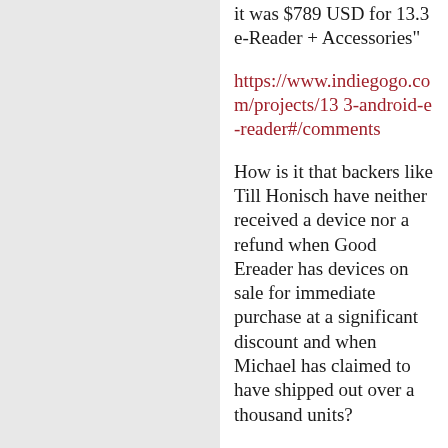it was $789 USD for 13.3 e-Reader + Accessories"
https://www.indiegogo.com/projects/13 3-android-e-reader#/comments
How is it that backers like Till Honisch have neither received a device nor a refund when Good Ereader has devices on sale for immediate purchase at a significant discount and when Michael has claimed to have shipped out over a thousand units?
And there are other backers with even lower order numbers